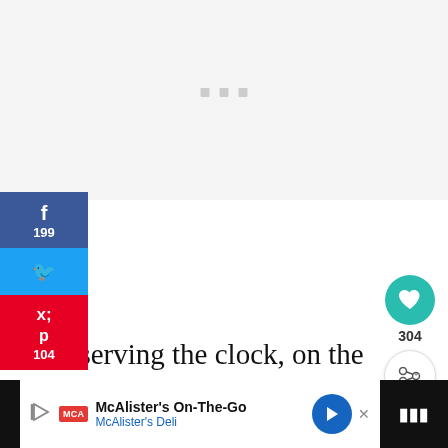[Figure (screenshot): Light gray placeholder/loading area at top of webpage]
[Figure (infographic): Social media sidebar with Facebook (199), Twitter, and Pinterest (104) share buttons]
[Figure (infographic): Heart/like button showing 304 and share icon button on right side]
[Figure (screenshot): What's Next panel showing 'How to Observe...' with thumbnail image]
Observing the clock, on the other hand, was stressful. I had to stop this precious moment on concentration, interest, and learning to shove him in a car to get to preschool. That m
[Figure (screenshot): McAlister's Deli advertisement banner at bottom: McAlister's On-The-Go / McAlister's Deli]